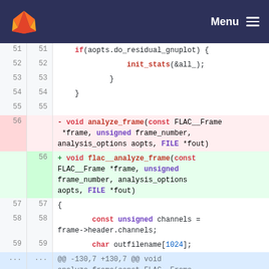GitLab Menu
Code diff showing lines 51-59 and a diff hunk context. Line 56 is removed (void analyze_frame) and replaced with void flac__analyze_frame.
[Figure (screenshot): GitLab code diff view showing a C/C++ source file with line numbers. Lines 51-55 show context code including if(aopts.do_residual_gnuplot), init_stats(&all_), closing braces. Line 56 (removed, pink background) shows: - void analyze_frame(const FLAC__Frame *frame, unsigned frame_number, analysis_options aopts, FILE *fout). Line 56 (added, green background) shows: + void flac__analyze_frame(const FLAC__Frame *frame, unsigned frame_number, analysis_options aopts, FILE *fout). Lines 57-59 show: { , const unsigned channels = frame->header.channels;, char outfilename[1024];. Then a diff hunk line: @@ -130,7 +130,7 @@ void analyze_frame(const FLAC__Frame *frame, unsigned frame_number,]